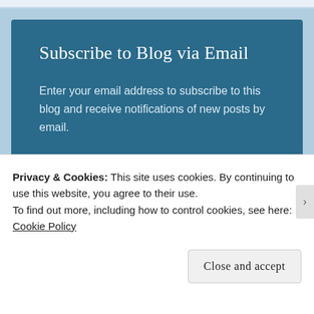Subscribe to Blog via Email
Enter your email address to subscribe to this blog and receive notifications of new posts by email.
Email Address
SUBSCRIBE
Privacy & Cookies: This site uses cookies. By continuing to use this website, you agree to their use.
To find out more, including how to control cookies, see here: Cookie Policy
Close and accept